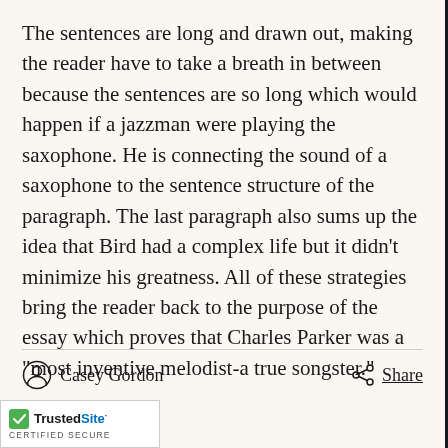The sentences are long and drawn out, making the reader have to take a breath in between because the sentences are so long which would happen if a jazzman were playing the saxophone. He is connecting the sound of a saxophone to the sentence structure of the paragraph. The last paragraph also sums up the idea that Bird had a complex life but it didn't minimize his greatness. All of these strategies bring the reader back to the purpose of the essay which proves that Charles Parker was a “most inventive melodist-a true songster.”
Casey Gordon
Share
[Figure (logo): TrustedSite CERTIFIED SECURE badge]